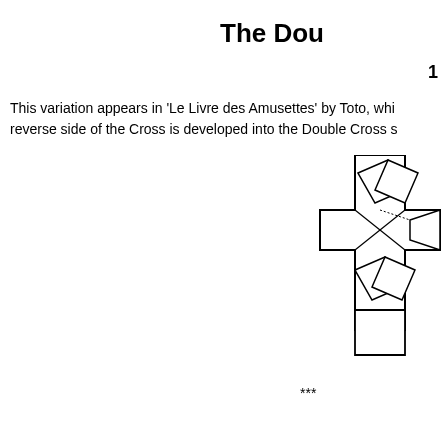The Dou
1
This variation appears in 'Le Livre des Amusettes' by Toto, whi reverse side of the Cross is developed into the Double Cross s
[Figure (illustration): A geometric origami or paper folding diagram showing a double cross shape — a cross-shaped figure with rotated square elements overlapping at the center, rendered in black line art on white background.]
***